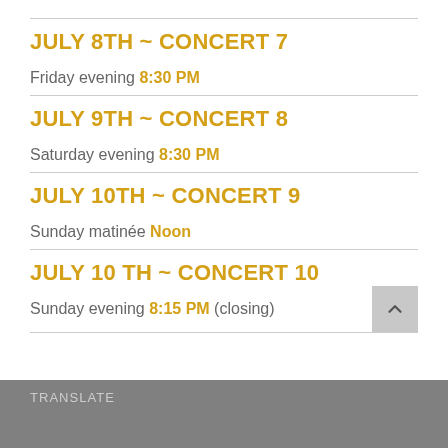JULY 8TH ~ CONCERT 7
Friday evening 8:30 PM
JULY 9TH ~ CONCERT 8
Saturday evening 8:30 PM
JULY 10TH ~ CONCERT 9
Sunday matinée Noon
JULY 10 TH ~ CONCERT 10
Sunday evening 8:15 PM (closing)
TRANSLATE